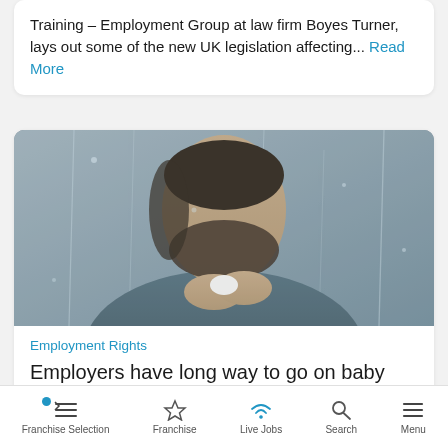Training – Employment Group at law firm Boyes Turner, lays out some of the new UK legislation affecting... Read More
[Figure (photo): Man with dark beard pressed against a rain-wet glass window, holding white earbuds, wearing a grey long-sleeve shirt, in a moody, distressed pose]
Employment Rights
Employers have long way to go on baby loss policy says new research
Franchise Selection | Franchise | Live Jobs | Search | Menu